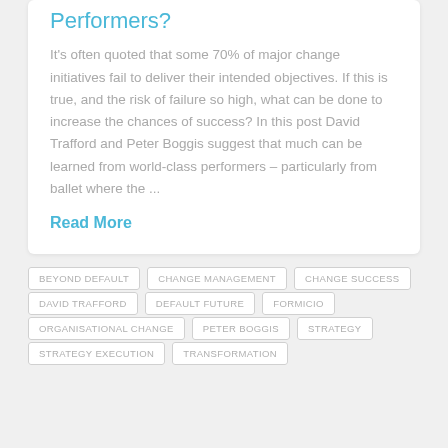Performers?
It's often quoted that some 70% of major change initiatives fail to deliver their intended objectives. If this is true, and the risk of failure so high, what can be done to increase the chances of success? In this post David Trafford and Peter Boggis suggest that much can be learned from world-class performers – particularly from ballet where the ...
Read More
BEYOND DEFAULT
CHANGE MANAGEMENT
CHANGE SUCCESS
DAVID TRAFFORD
DEFAULT FUTURE
FORMICIO
ORGANISATIONAL CHANGE
PETER BOGGIS
STRATEGY
STRATEGY EXECUTION
TRANSFORMATION